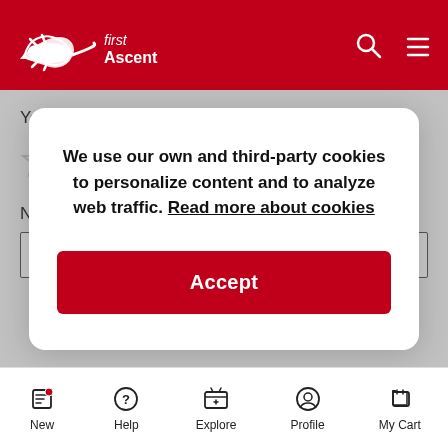First Ascent
Your Rating:
[Figure (other): Five empty star rating icons in a row]
Nickname
[Figure (screenshot): Cookie consent modal: We use our own and third-party cookies to personalize content and to analyze web traffic. Read more about cookies. Accept button.]
New  Help  Explore  Profile  My Cart